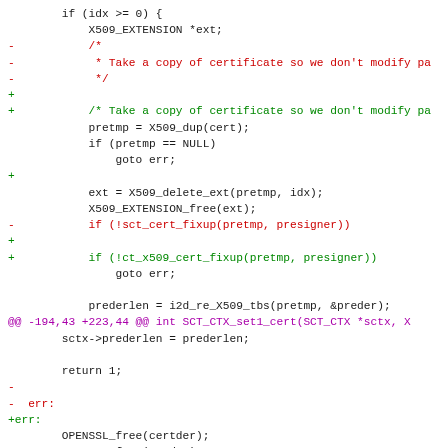[Figure (screenshot): Code diff showing changes to a C source file. Removed lines in red, added lines in green, diff header in magenta, context lines in dark/black. The diff modifies certificate handling code in OpenSSL, replacing sct_cert_fixup with ct_x509_cert_fixup and restructuring comments.]